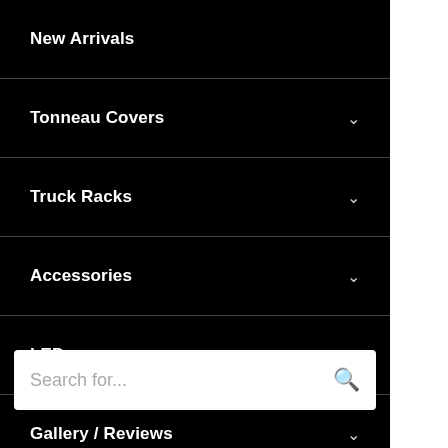New Arrivals
Tonneau Covers
Truck Racks
Accessories
LED
Gallery / Reviews
Search for...